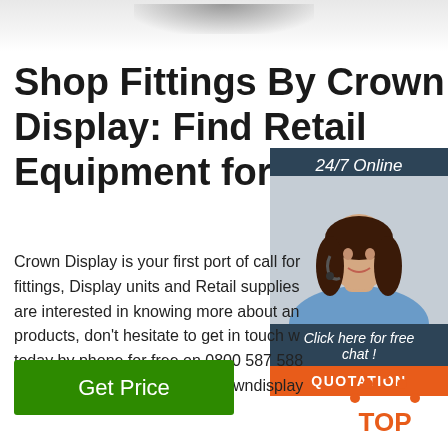[Figure (photo): Top portion of a product image shadow/reflection at top of page]
Shop Fittings By Crown Display: Find Retail Equipment for ...
[Figure (infographic): Sidebar widget with '24/7 Online' header, photo of woman with headset, 'Click here for free chat!' text, and orange QUOTATION button]
Crown Display is your first port of call for fittings, Display units and Retail supplies are interested in knowing more about an products, don't hesitate to get in touch w today by phone for free on 0800 587 588 sending an email to sales@crowndisplay
[Figure (other): Green 'Get Price' button]
[Figure (logo): Orange 'TOP' logo with arrow dots in bottom right corner]